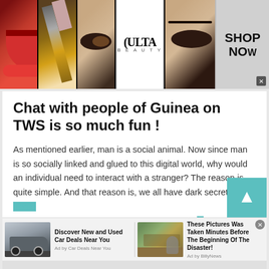[Figure (photo): Top banner advertisement for ULTA Beauty showing makeup images (lips, brush, eyes) and 'SHOP NOW' call to action]
Chat with people of Guinea on TWS is so much fun !
As mentioned earlier, man is a social animal. Now since man is so socially linked and glued to this digital world, why would an individual need to interact with a stranger? The reason is quite simple. And that reason is, we all have dark secrets. There is no shame in admitting our deepest and darkest
[Figure (screenshot): Bottom advertisement bar with two ads: 'Discover New and Used Car Deals Near You' by Car Deals Near You, and 'These Pictures Was Taken Minutes Before The Beginning Of The Disaster!' by BillyNews]